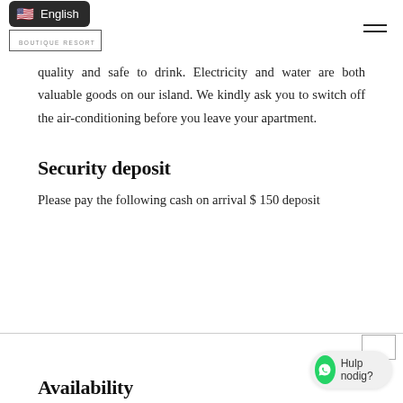English | BOUTIQUE RESORT
quality and safe to drink. Electricity and water are both valuable goods on our island. We kindly ask you to switch off the air-conditioning before you leave your apartment.
Security deposit
Please pay the following cash on arrival $ 150 deposit
Availability